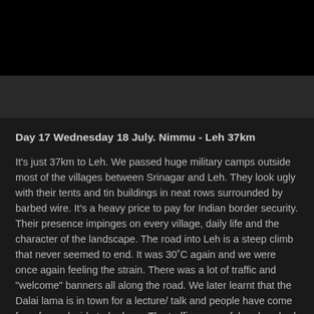Day 17 Wednesday 18 July. Nimmu - Leh 37km
It's just 37km to Leh. We passed huge military camps outside most of the villages between Srinagar and Leh. They look ugly with their tents and tin buildings in neat rows surrounded by barbed wire. It's a heavy price to pay for Indian border security. Their presence impinges on every village, daily life and the character of the landscape. The road into Leh is a steep climb that never seemed to end. It was 30˚C again and we were once again feeling the strain. There was a lot of traffic and "welcome" banners all along the road. We later learnt that the Dalai lama is in town for a lecture/ talk and people have come from far and wide to be here. The traffic was awful and we had to be strong and assertive to protect our right to the road. We ended up walking some of the way just for a break. We found a lovely mid range guest house away from the centre of town for Rs 600 ($12) per double. We have a big room with a double bed,